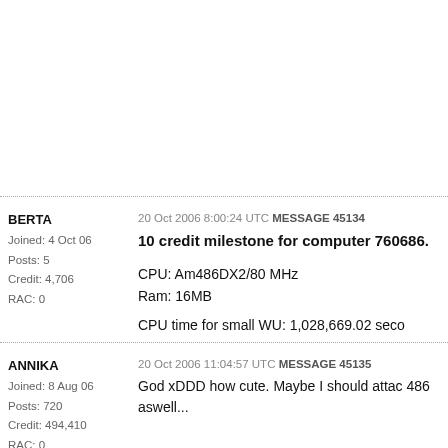20 Oct 2006 8:00:24 UTC MESSAGE 45134
BERTA
Joined: 4 Oct 06
Posts: 5
Credit: 4,706
RAC: 0
10 credit milestone for computer 760686.
CPU: Am486DX2/80 MHz
Ram: 16MB
CPU time for small WU: 1,028,669.02 seco
20 Oct 2006 11:04:57 UTC MESSAGE 45135
ANNIKA
Joined: 8 Aug 06
Posts: 720
Credit: 494,410
RAC: 0
God xDDD how cute. Maybe I should attac 486 aswell...